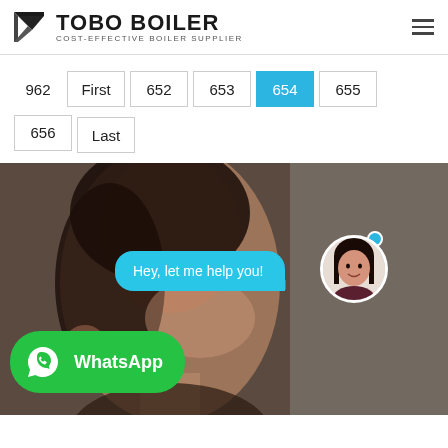[Figure (logo): TOBO BOILER logo with dark geometric icon and text 'COST-EFFECTIVE BOILER SUPPLIER']
962  First  652  653  654  655  656  Last
[Figure (photo): Blurred background photo of a smiling woman. Overlaid: cyan chat bubble saying 'Hey, let me help you!', a circular avatar of a woman with an online indicator dot, and a green WhatsApp button.]